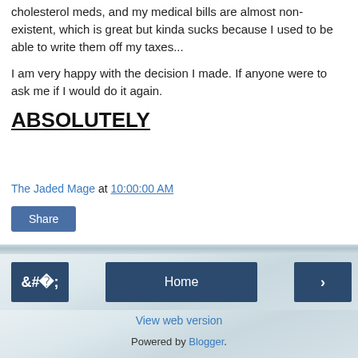cholesterol meds, and my medical bills are almost non-existent, which is great but kinda sucks because I used to be able to write them off my taxes...
I am very happy with the decision I made. If anyone were to ask me if I would do it again.
ABSOLUTELY
The Jaded Mage at 10:00:00 AM
Share
Home | < | >
View web version
Powered by Blogger.